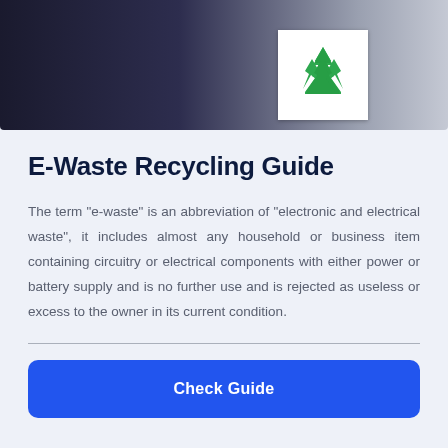[Figure (photo): Photo of a person handling electronics with a recycling symbol sticker visible on a grey surface in the background]
E-Waste Recycling Guide
The term “e-waste” is an abbreviation of “electronic and electrical waste”, it includes almost any household or business item containing circuitry or electrical components with either power or battery supply and is no further use and is rejected as useless or excess to the owner in its current condition.
Check Guide